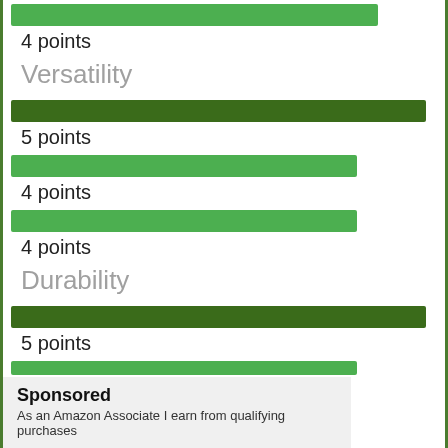[Figure (bar-chart): Ratings chart with Versatility and Durability sections]
Sponsored
As an Amazon Associate I earn from qualifying purchases